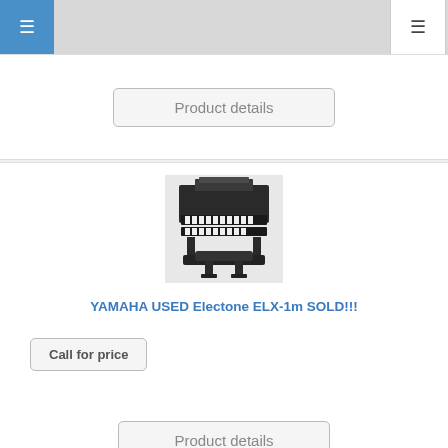Navigation header with hamburger menus
Product details
[Figure (photo): Photo of a Yamaha Electone ELX-1m electronic organ keyboard with bench, black finish, viewed from slightly above at an angle]
YAMAHA USED Electone ELX-1m SOLD!!!
Call for price
Product details